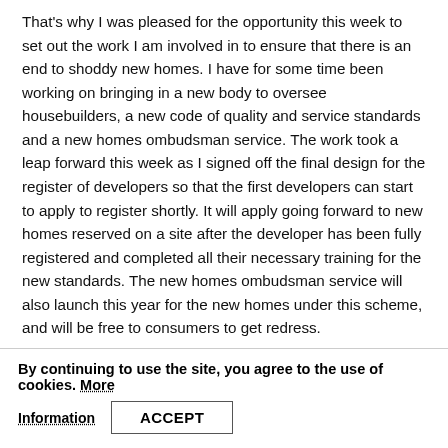That's why I was pleased for the opportunity this week to set out the work I am involved in to ensure that there is an end to shoddy new homes. I have for some time been working on bringing in a new body to oversee housebuilders, a new code of quality and service standards and a new homes ombudsman service. The work took a leap forward this week as I signed off the final design for the register of developers so that the first developers can start to apply to register shortly. It will apply going forward to new homes reserved on a site after the developer has been fully registered and completed all their necessary training for the new standards. The new homes ombudsman service will also launch this year for the new homes under this scheme, and will be free to consumers to get redress.
Another longstanding area of concern is rent levels. It has been my long-standing view that some rent levels don't give tenants value for money, or taxpayers either where those rents are supported by the state. I believe there should be a clear process to regulate them at a fair market price for their housing. There has been an explosion in the size of the private rented sector over the last fifteen or so years. It has
By continuing to use the site, you agree to the use of cookies. More Information [ACCEPT]